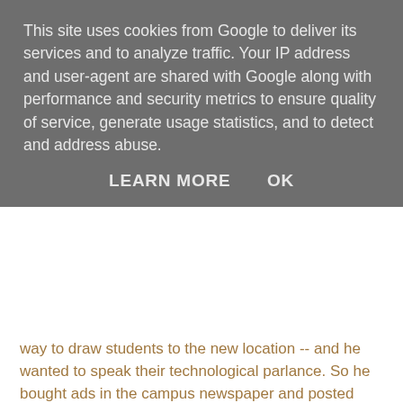This site uses cookies from Google to deliver its services and to analyze traffic. Your IP address and user-agent are shared with Google along with performance and security metrics to ensure quality of service, generate usage statistics, and to detect and address abuse.
LEARN MORE   OK
way to draw students to the new location -- and he wanted to speak their technological parlance. So he bought ads in the campus newspaper and posted promotional posters, each with a code kids could scan with their phones to get a mobile coupon for a buy-one-get-one-free burrito.
The campaign, which ran on technology from a company called Jagtag, netted a 52% redemption rate with about 400 scans* , roughly 1% of the total target student population.
For Qdoba, it was a digital version of clipping coupons. But these codes -- known as 2-D barcodes, since they're scanned both horizontally and vertically -- can also deliver product reviews, video demos or any other tool a marketer